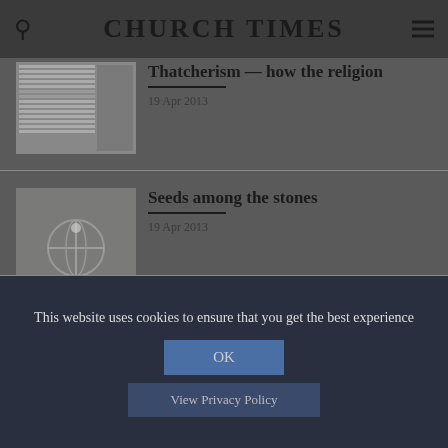CHURCH TIMES
Thatcherism — how the religion
19 Apr 2013
Seeds among the stones
19 Apr 2013
This website uses cookies to ensure that you get the best experience
OK
View Privacy Policy